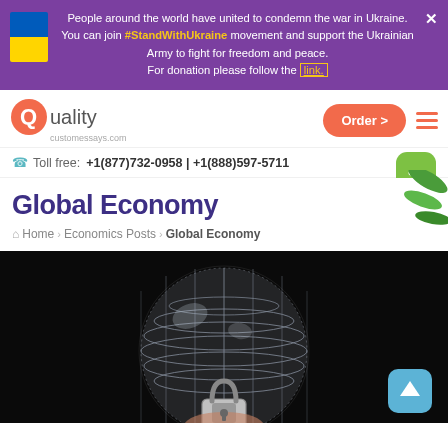People around the world have united to condemn the war in Ukraine. You can join #StandWithUkraine movement and support the Ukrainian Army to fight for freedom and peace. For donation please follow the link.
Quality customessays.com | Order > | Toll free: +1(877)732-0958 | +1(888)597-5711
Global Economy
Home > Economics Posts > Global Economy
[Figure (photo): Dark background with a spherical globe made of metallic mesh/grid, with a padlock attached at the base, held by a hand — symbolizing a locked global economy.]